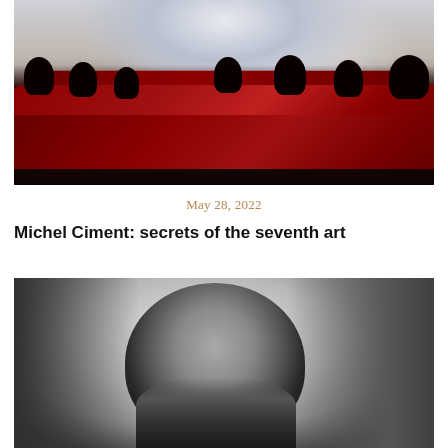[Figure (photo): Cinema interior with red seats and audience silhouettes viewed from behind, bright screen in background]
May 28, 2022
Michel Ciment: secrets of the seventh art
[Figure (photo): Black and white portrait of a person with dark hair, hands raised near face holding something, dark background]